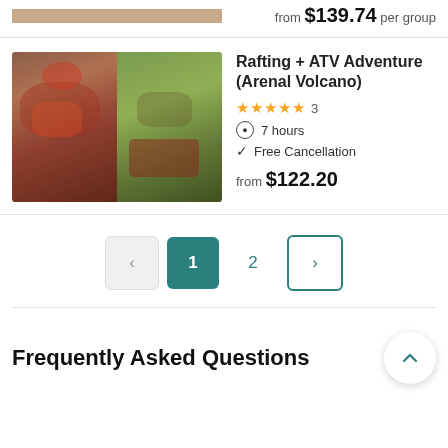from $139.74 per group
[Figure (photo): Split image: left side shows white-water rafting with people in red helmets; right side shows ATV/quad biking on a grassy trail near Arenal Volcano]
Rafting + ATV Adventure (Arenal Volcano)
★★★★★ 3
⏱ 7 hours
✓ Free Cancellation
from $122.20
Pagination: < 1 2 >
Frequently Asked Questions